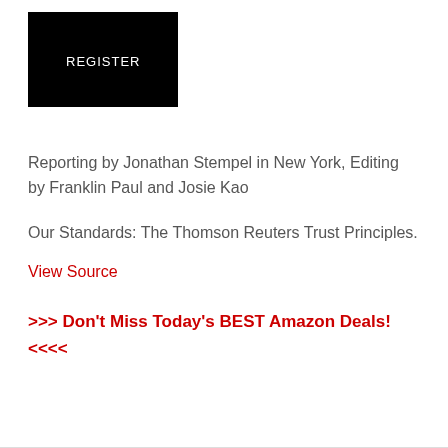[Figure (other): Black square button with white text 'REGISTER']
Reporting by Jonathan Stempel in New York, Editing by Franklin Paul and Josie Kao
Our Standards: The Thomson Reuters Trust Principles.
View Source
>>> Don't Miss Today's BEST Amazon Deals! <<<<